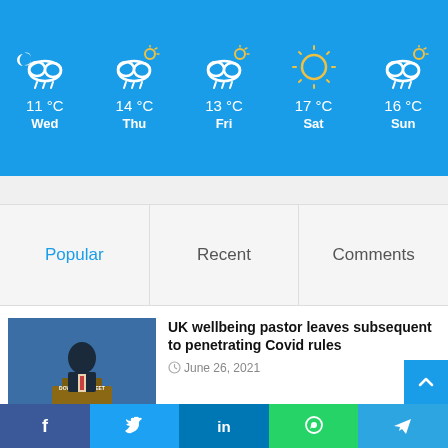[Figure (infographic): Weather forecast widget showing 5 days: Wed 11°C (rain/night), Thu 14°C (rain/cloudy), Fri 13°C (rain/cloudy), Sat 17°C (sunny), Sun 16°C (rain/cloudy)]
Popular
Recent
Comments
[Figure (photo): Man in suit at Downing Street podium, head down]
UK wellbeing pastor leaves subsequent to penetrating Covid rules
June 26, 2021
[Figure (photo): Person with arms raised in crowd celebration]
Collingwood longtime supporter Joffrey Corbyn apologizes for racist comments about indian workers